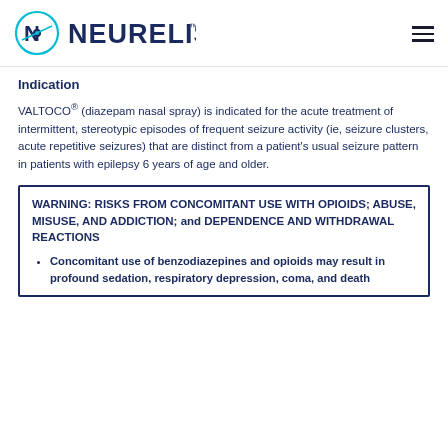[Figure (logo): Neurelis company logo with teal circular icon and dark blue NEURELIS wordmark]
Indication
VALTOCO® (diazepam nasal spray) is indicated for the acute treatment of intermittent, stereotypic episodes of frequent seizure activity (ie, seizure clusters, acute repetitive seizures) that are distinct from a patient's usual seizure pattern in patients with epilepsy 6 years of age and older.
WARNING: RISKS FROM CONCOMITANT USE WITH OPIOIDS; ABUSE, MISUSE, AND ADDICTION; and DEPENDENCE AND WITHDRAWAL REACTIONS
• Concomitant use of benzodiazepines and opioids may result in profound sedation, respiratory depression, coma, and death